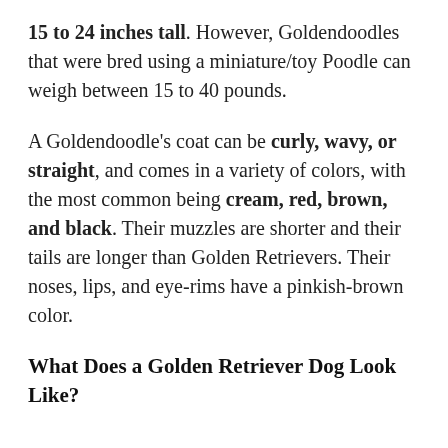15 to 24 inches tall. However, Goldendoodles that were bred using a miniature/toy Poodle can weigh between 15 to 40 pounds.
A Goldendoodle's coat can be curly, wavy, or straight, and comes in a variety of colors, with the most common being cream, red, brown, and black. Their muzzles are shorter and their tails are longer than Golden Retrievers. Their noses, lips, and eye-rims have a pinkish-brown color.
What Does a Golden Retriever Dog Look Like?